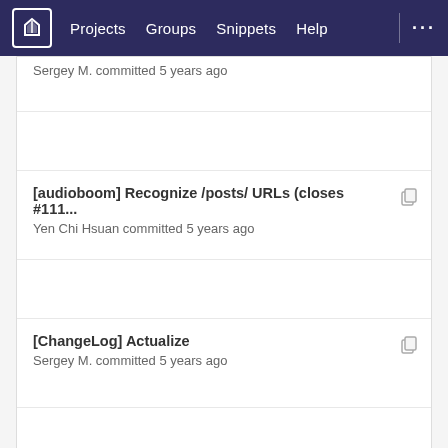Projects  Groups  Snippets  Help
Sergey M. committed 5 years ago
[audioboom] Recognize /posts/ URLs (closes #111...
Yen Chi Hsuan committed 5 years ago
[ChangeLog] Actualize
Sergey M. committed 5 years ago
[audioboom] Recognize /posts/ URLs (closes #111...
Yen Chi Hsuan committed 5 years ago
release 2016.11.08.1
Sergey M. committed 5 years ago